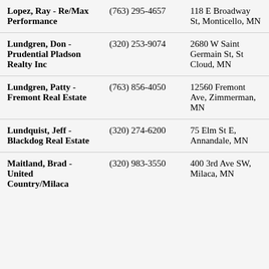| Lopez, Ray - Re/Max Performance | (763) 295-4657 | 118 E Broadway St, Monticello, MN |
| Lundgren, Don - Prudential Pladson Realty Inc | (320) 253-9074 | 2680 W Saint Germain St, St Cloud, MN |
| Lundgren, Patty - Fremont Real Estate | (763) 856-4050 | 12560 Fremont Ave, Zimmerman, MN |
| Lundquist, Jeff - Blackdog Real Estate | (320) 274-6200 | 75 Elm St E, Annandale, MN |
| Maitland, Brad - United Country/Milaca | (320) 983-3550 | 400 3rd Ave SW, Milaca, MN |